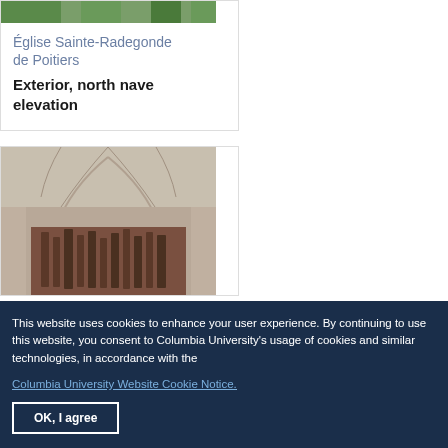[Figure (photo): Top portion of a photo showing outdoor trees/greenery above a church exterior]
Église Sainte-Radegonde de Poitiers
Exterior, north nave elevation
[Figure (photo): Interior of a Gothic church nave showing vaulted ceiling, organ pipes, and architectural columns]
This website uses cookies to enhance your user experience. By continuing to use this website, you consent to Columbia University's usage of cookies and similar technologies, in accordance with the Columbia University Website Cookie Notice.
OK, I agree